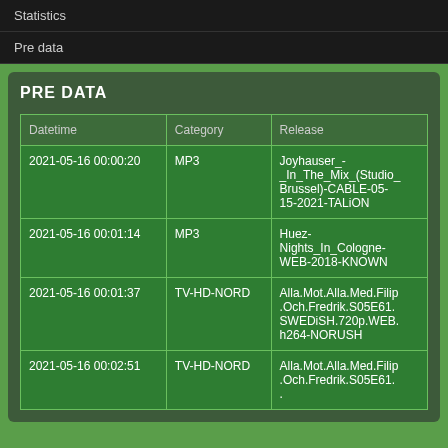Statistics
Pre data
PRE DATA
| Datetime | Category | Release |
| --- | --- | --- |
| 2021-05-16 00:00:20 | MP3 | Joyhauser_-_In_The_Mix_(Studio_Brussel)-CABLE-05-15-2021-TALiON |
| 2021-05-16 00:01:14 | MP3 | Huez-Nights_In_Cologne-WEB-2018-KNOWN |
| 2021-05-16 00:01:37 | TV-HD-NORD | Alla.Mot.Alla.Med.Filip.Och.Fredrik.S05E61.SWEDiSH.720p.WEB.h264-NORUSH |
| 2021-05-16 00:02:51 | TV-HD-NORD | Alla.Mot.Alla.Med.Filip.Och.Fredrik.S05E61. |